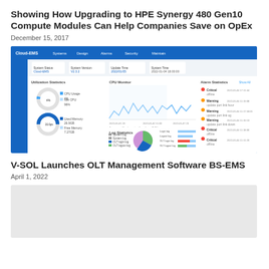Showing How Upgrading to HPE Synergy 480 Gen10 Compute Modules Can Help Companies Save on OpEx
December 15, 2017
[Figure (screenshot): Cloud-EMS dashboard screenshot showing system status, CPU monitor with line chart, utilization statistics with donut charts, log statistics with pie chart, and alarm statistics panel.]
V-SOL Launches OLT Management Software BS-EMS
April 1, 2022
[Figure (screenshot): Partially visible screenshot of V-SOL OLT Management Software BS-EMS interface, shown as a light grey box.]